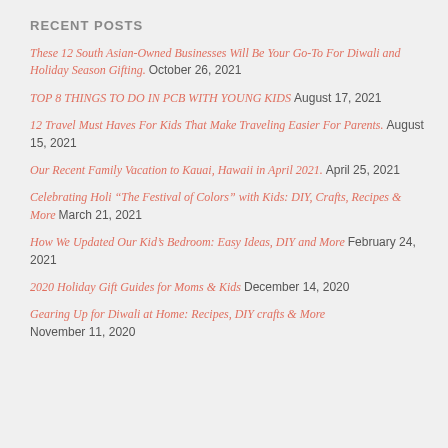RECENT POSTS
These 12 South Asian-Owned Businesses Will Be Your Go-To For Diwali and Holiday Season Gifting. October 26, 2021
TOP 8 THINGS TO DO IN PCB WITH YOUNG KIDS August 17, 2021
12 Travel Must Haves For Kids That Make Traveling Easier For Parents. August 15, 2021
Our Recent Family Vacation to Kauai, Hawaii in April 2021. April 25, 2021
Celebrating Holi “The Festival of Colors” with Kids: DIY, Crafts, Recipes & More March 21, 2021
How We Updated Our Kid’s Bedroom: Easy Ideas, DIY and More February 24, 2021
2020 Holiday Gift Guides for Moms & Kids December 14, 2020
Gearing Up for Diwali at Home: Recipes, DIY crafts & More November 11, 2020